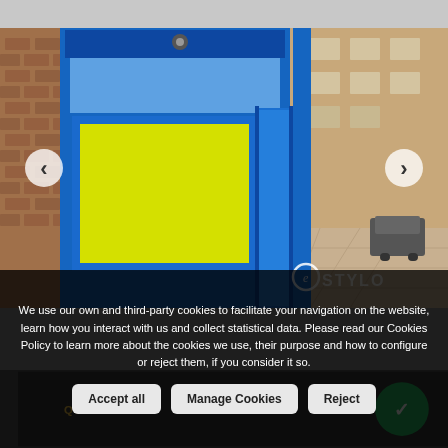[Figure (photo): Photo of a storefront with blue facade and yellow window display, viewed from the sidewalk. Street and brick buildings visible on the right side. Navigation arrows (left and right) overlaid. OE STYLO watermark in bottom right corner.]
We use our own and third-party cookies to facilitate your navigation on the website, learn how you interact with us and collect statistical data. Please read our Cookies Policy to learn more about the cookies we use, their purpose and how to configure or reject them, if you consider it so.
Accept all | Manage Cookies | Reject